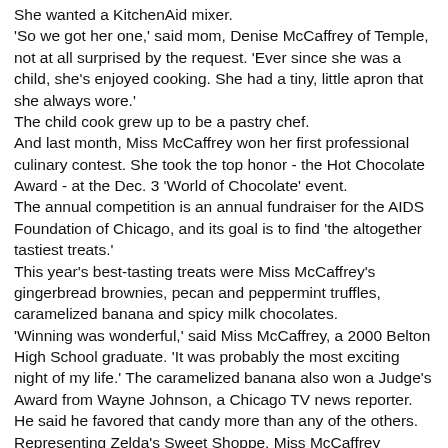She wanted a KitchenAid mixer.
'So we got her one,' said mom, Denise McCaffrey of Temple, not at all surprised by the request. 'Ever since she was a child, she's enjoyed cooking. She had a tiny, little apron that she always wore.'
The child cook grew up to be a pastry chef.
And last month, Miss McCaffrey won her first professional culinary contest. She took the top honor - the Hot Chocolate Award - at the Dec. 3 'World of Chocolate' event.
The annual competition is an annual fundraiser for the AIDS Foundation of Chicago, and its goal is to find 'the altogether tastiest treats.'
This year's best-tasting treats were Miss McCaffrey's gingerbread brownies, pecan and peppermint truffles, caramelized banana and spicy milk chocolates.
'Winning was wonderful,' said Miss McCaffrey, a 2000 Belton High School graduate. 'It was probably the most exciting night of my life.' The caramelized banana also won a Judge's Award from Wayne Johnson, a Chicago TV news reporter. He said he favored that candy more than any of the others. Representing Zelda's Sweet Shoppe, Miss McCaffrey competed against chefs from 30 other vendors.
And she also made a few contacts in ...